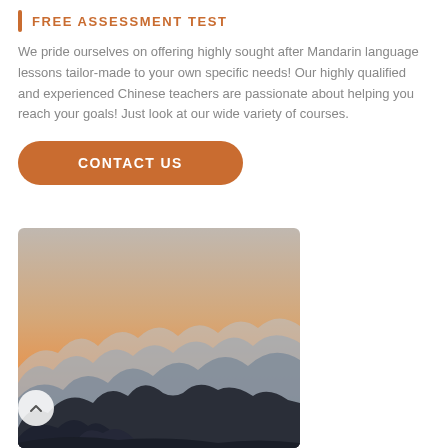FREE ASSESSMENT TEST
We pride ourselves on offering highly sought after Mandarin language lessons tailor-made to your own specific needs! Our highly qualified and experienced Chinese teachers are passionate about helping you reach your goals! Just look at our wide variety of courses.
CONTACT US
[Figure (photo): Landscape photo of misty mountain peaks at sunset/dusk with orange-pink sky gradient and silhouetted rocky formations in the foreground]